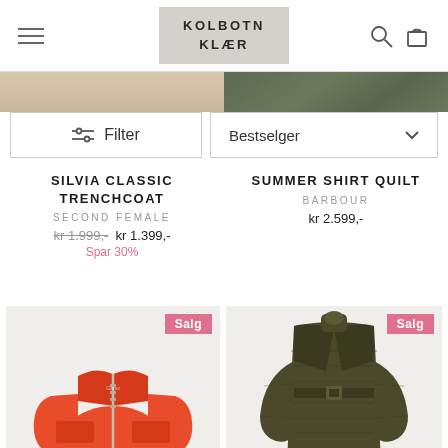KOLBOTN KLÆR
Filter
Bestselger
SILVIA CLASSIC TRENCHCOAT
SECOND FEMALE
kr 1.999,- kr 1.399,-
Spar 30%
SUMMER SHIRT QUILT
BARBOUR
kr 2.599,-
[Figure (photo): Orange zip-up jacket on light background with Salg badge]
[Figure (photo): Olive green quilted long coat on light background with Salg badge]